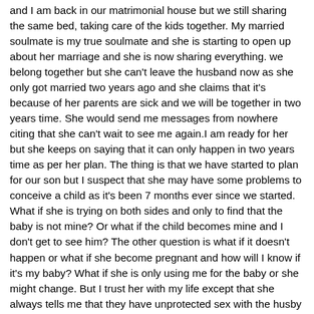and I am back in our matrimonial house but we still sharing the same bed, taking care of the kids together. My married soulmate is my true soulmate and she is starting to open up about her marriage and she is now sharing everything. we belong together but she can't leave the husband now as she only got married two years ago and she claims that it's because of her parents are sick and we will be together in two years time. She would send me messages from nowhere citing that she can't wait to see me again.I am ready for her but she keeps on saying that it can only happen in two years time as per her plan. The thing is that we have started to plan for our son but I suspect that she may have some problems to conceive a child as it's been 7 months ever since we started. What if she is trying on both sides and only to find that the baby is not mine? Or what if the child becomes mine and I don't get to see him? The other question is what if it doesn't happen or what if she become pregnant and how will I know if it's my baby? What if she is only using me for the baby or she might change. But I trust her with my life except that she always tells me that they have unprotected sex with the husby and they can also go for months without it. I think he is a dump moron and he is afraid of her or afraid of losing her. But anyway I won't know that. Or she might be a controlling freak as she in control. She tells me that she wants him to catch her and then leave him and that's what she says...